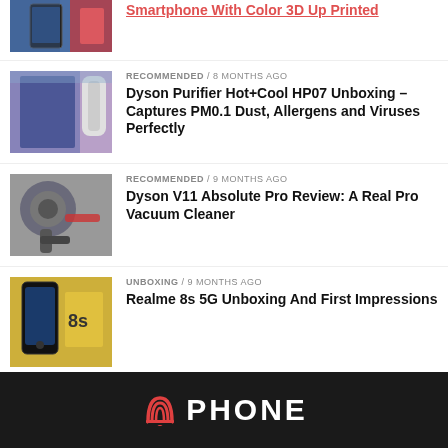Smartphone With Color 3D Up Printed
[Figure (photo): Partial thumbnail of a smartphone with color 3D printing]
RECOMMENDED / 8 months ago
Dyson Purifier Hot+Cool HP07 Unboxing – Captures PM0.1 Dust, Allergens and Viruses Perfectly
[Figure (photo): Dyson Purifier HP07 displayed in a store]
RECOMMENDED / 9 months ago
Dyson V11 Absolute Pro Review: A Real Pro Vacuum Cleaner
[Figure (photo): Dyson V11 Absolute Pro vacuum cleaner]
UNBOXING / 9 months ago
Realme 8s 5G Unboxing And First Impressions
[Figure (photo): Realme 8s 5G smartphone unboxing]
PHONE